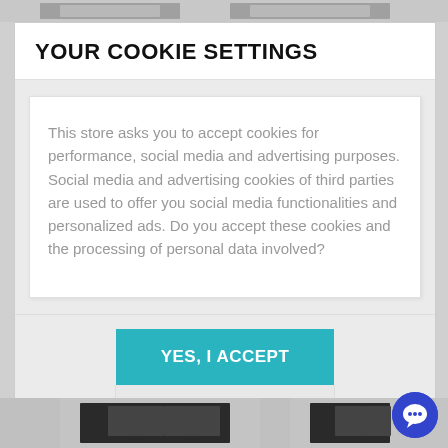[Figure (screenshot): Top strip showing partial product images in grayscale]
YOUR COOKIE SETTINGS
This store asks you to accept cookies for performance, social media and advertising purposes. Social media and advertising cookies of third parties are used to offer you social media functionalities and personalized ads. Do you accept these cookies and the processing of personal data involved?
YES, I ACCEPT
More information
[Figure (screenshot): Bottom strip showing partial product images in dark/black tones]
[Figure (illustration): Blue circular chat/message button in bottom right corner]